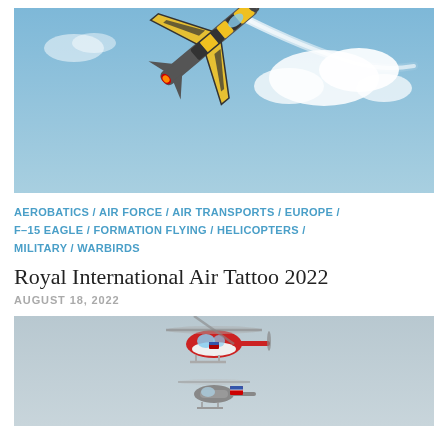[Figure (photo): A fighter jet with yellow and black tiger stripe paint scheme performing an aerobatic maneuver, diving downward with a white smoke trail against a blue sky with clouds.]
AEROBATICS / AIR FORCE / AIR TRANSPORTS / EUROPE / F–15 EAGLE / FORMATION FLYING / HELICOPTERS / MILITARY / WARBIRDS
Royal International Air Tattoo 2022
AUGUST 18, 2022
[Figure (photo): A red and white Coast Guard helicopter flying above what appears to be a naval vessel, against a grey-blue sky.]